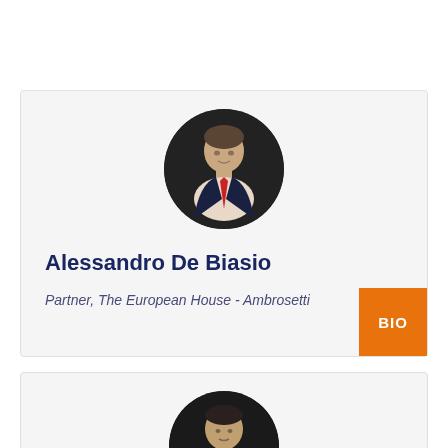[Figure (photo): Circular headshot photo of Alessandro De Biasio, a man in a dark suit with a red tie, against a dark background]
Alessandro De Biasio
Partner, The European House - Ambrosetti
[Figure (photo): Circular headshot photo of a second person (partially visible), man in dark clothing against a dark background]